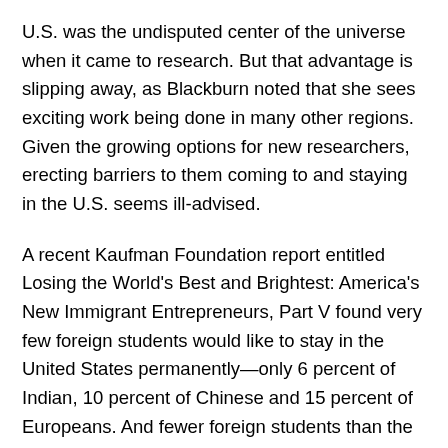U.S. was the undisputed center of the universe when it came to research. But that advantage is slipping away, as Blackburn noted that she sees exciting work being done in many other regions. Given the growing options for new researchers, erecting barriers to them coming to and staying in the U.S. seems ill-advised.
A recent Kaufman Foundation report entitled Losing the World's Best and Brightest: America's New Immigrant Entrepreneurs, Part V found very few foreign students would like to stay in the United States permanently—only 6 percent of Indian, 10 percent of Chinese and 15 percent of Europeans. And fewer foreign students than the historical norm expressed interest in staying in the United States after they graduate citing concerns. In addition, the Council on Graduate Schools is tracking the decline of applications to and offers of admission to foreign students to attend U.S. Universities.